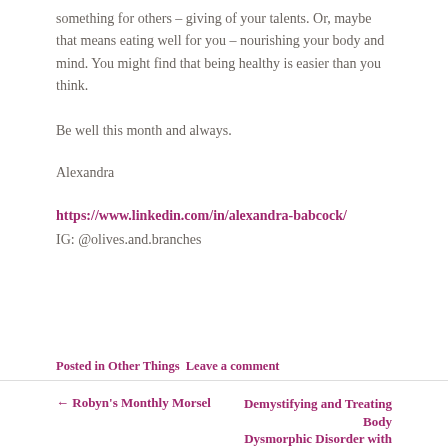something for others – giving of your talents. Or, maybe that means eating well for you – nourishing your body and mind. You might find that being healthy is easier than you think.
Be well this month and always.
Alexandra
https://www.linkedin.com/in/alexandra-babcock/
IG: @olives.and.branches
Posted in Other Things Leave a comment
← Robyn's Monthly Morsel    Demystifying and Treating Body Dysmorphic Disorder with